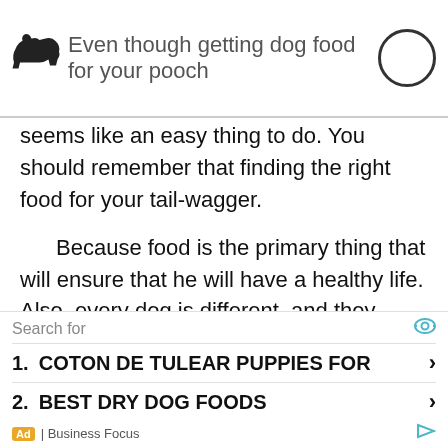Even though getting dog food for your pooch
seems like an easy thing to do. You should remember that finding the right food for your tail-wagger.
Because food is the primary thing that will ensure that he will have a healthy life. Also, every dog is different, and they have different needs. Since we know that, we reviewed the best dog food for a Chinese Crested in this article. We hope that our selections were
Search for
1. COTON DE TULEAR PUPPIES FOR
2. BEST DRY DOG FOODS
Ad | Business Focus